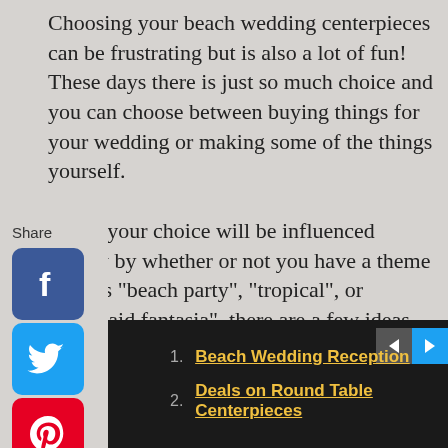Choosing your beach wedding centerpieces can be frustrating but is also a lot of fun! These days there is just so much choice and you can choose between buying things for your wedding or making some of the things yourself. While your choice will be influenced greatly by whether or not you have a theme such as "beach party", "tropical", or "mermaid fantasia", there are a few ideas that can be used without any specific theme for any kind of beach wedding. Your choice is limited only by your imagination. Here are a few ideas to get the creative juices flowing:
[Figure (infographic): Social media share sidebar with icons for Facebook, Twitter, Pinterest, Tumblr, Reddit, and WhatsApp]
1. Beach Wedding Reception
2. Deals on Round Table Centerpieces